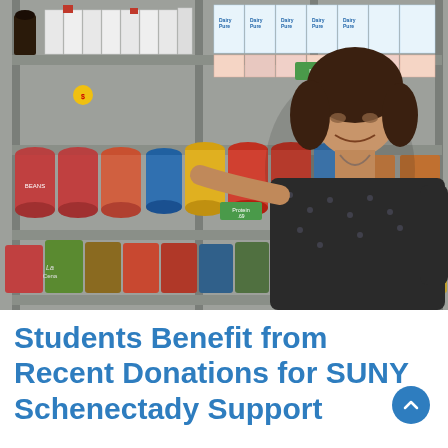[Figure (photo): A woman in a dark patterned shirt stands next to metal shelving units stocked with canned goods, boxed foods, and Dairy Pure milk cartons in what appears to be a food pantry. She reaches toward the cans on a middle shelf.]
Students Benefit from Recent Donations for SUNY Schenectady Support